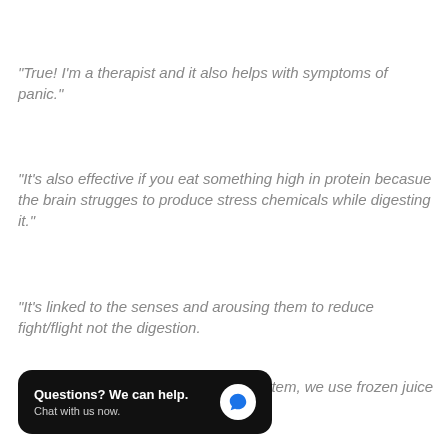“True! I’m a therapist and it also helps with symptoms of panic.”
“It’s also effective if you eat something high in protein becasue the brain strugges to produce stress chemicals while digesting it.”
“It’s linked to the senses and arousing them to reduce fight/flight not the digestion.

Our OT said it shocks the nervous system, we use frozen juice ice cubes a lot.”